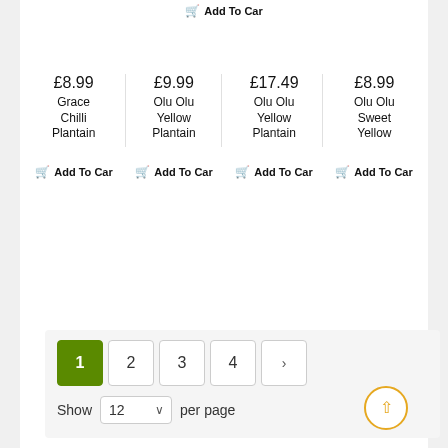Add To Car (partial, top)
£8.99
Grace Chilli Plantain
£9.99
Olu Olu Yellow Plantain
£17.49
Olu Olu Yellow Plantain
£8.99
Olu Olu Sweet Yellow
Add To Car (x4)
1  2  3  4  > pagination
Show 12 per page